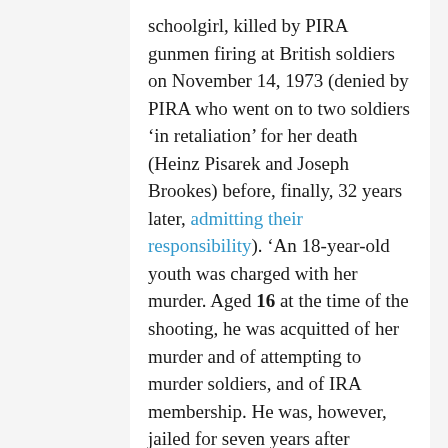schoolgirl, killed by PIRA gunmen firing at British soldiers on November 14, 1973 (denied by PIRA who went on to two soldiers 'in retaliation' for her death (Heinz Pisarek and Joseph Brookes) before, finally, 32 years later, admitting their responsibility). 'An 18-year-old youth was charged with her murder. Aged 16 at the time of the shooting, he was acquitted of her murder and of attempting to murder soldiers, and of IRA membership. He was, however, jailed for seven years after admitting having an Armalite rifle and ammunition. ... the defendant had